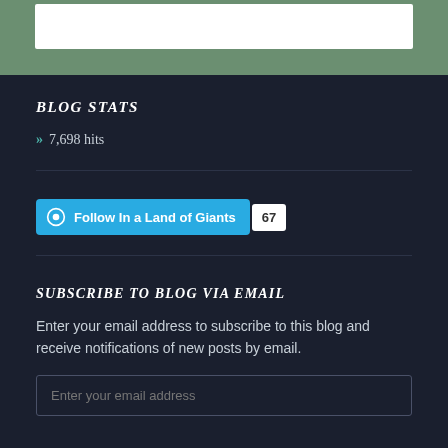[Figure (other): Top bar with sage green background containing a white search/input box]
BLOG STATS
» 7,698 hits
[Figure (other): WordPress Follow button 'Follow In a Land of Giants' with follower count badge showing 67]
SUBSCRIBE TO BLOG VIA EMAIL
Enter your email address to subscribe to this blog and receive notifications of new posts by email.
Enter your email address